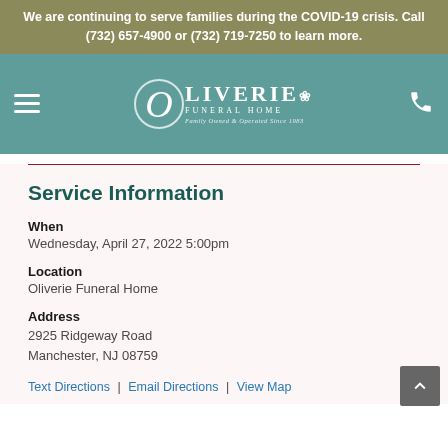We are continuing to serve families during the COVID-19 crisis. Call (732) 657-4900 or (732) 719-7250 to learn more.
[Figure (logo): Oliverie Funeral Home logo with decorative O, floral icon, subtitle 'Family Owned & Operated Since 1983'. Navigation bar with hamburger menu on left and phone icon on right on teal background.]
Service Information
When
Wednesday, April 27, 2022 5:00pm
Location
Oliverie Funeral Home
Address
2925 Ridgeway Road
Manchester, NJ 08759
Text Directions | Email Directions | View Map